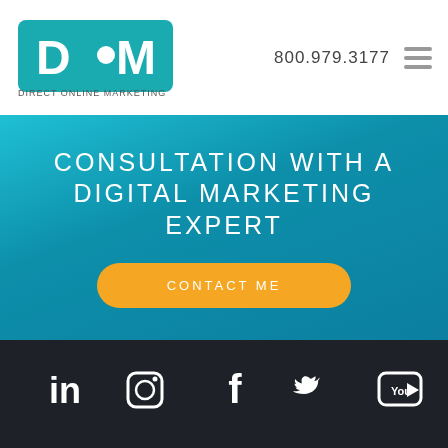DOM Direct Online Marketing | 800.979.3177
CONSULTATION WITH A DIGITAL MARKETING EXPERT
CONTACT ME
[Figure (infographic): Social media icons row: LinkedIn, Instagram, Facebook, Twitter, YouTube on dark background]